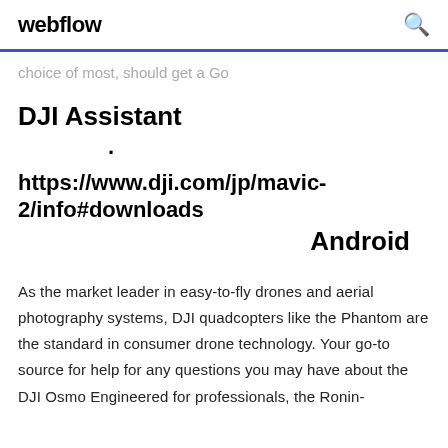webflow
choice of most, should get a Go
DJI Assistant
• https://www.dji.com/jp/mavic-2/info#downloads   Android
As the market leader in easy-to-fly drones and aerial photography systems, DJI quadcopters like the Phantom are the standard in consumer drone technology. Your go-to source for help for any questions you may have about the DJI Osmo Engineered for professionals, the Ronin-